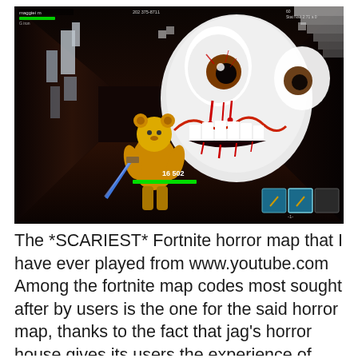[Figure (screenshot): Fortnite horror map gameplay screenshot showing a player character facing a large scary face (giant white head with bloody eyes and a grinning mouth) in a dark corridor. The game HUD shows health bars, inventory slots, and score. Top-left shows player stats and green health bar.]
The *SCARIEST* Fortnite horror map that I have ever played from www.youtube.com Among the fortnite map codes most sought after by users is the one for the said horror map, thanks to the fact that jag's horror house gives its users the experience of walking through a haunted house in the dark by only shining a flashlight. Broken map incorrect map info inappropriate other